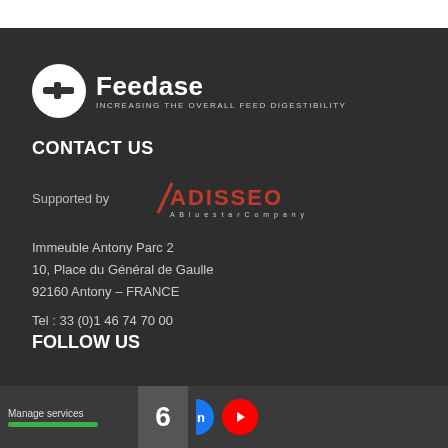[Figure (logo): Feedase logo: white circle with pipe/feed icon, text 'Feedase' in bold white, tagline 'INCREASING THE OVERALL FEED DIGESTIBILITY']
CONTACT US
[Figure (logo): Supported by Adisseo - A Bluestar Company logo]
Immeuble Antony Parc 2
10, Place du Général de Gaulle
92160 Antony – FRANCE
Tel : 33 (0)1 46 74 70 00
FOLLOW US
[Figure (other): Bottom bar with Manage services label, green progress bar, number 6, LinkedIn icon (partial), YouTube icon]